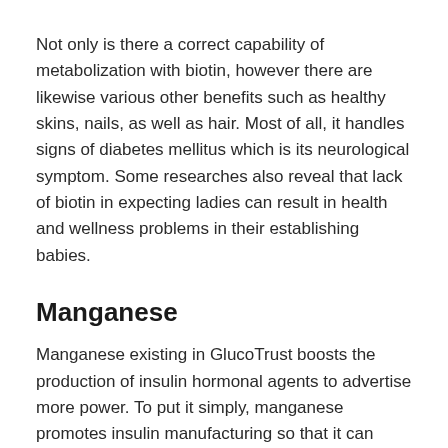Not only is there a correct capability of metabolization with biotin, however there are likewise various other benefits such as healthy skins, nails, as well as hair. Most of all, it handles signs of diabetes mellitus which is its neurological symptom. Some researches also reveal that lack of biotin in expecting ladies can result in health and wellness problems in their establishing babies.
Manganese
Manganese existing in GlucoTrust boosts the production of insulin hormonal agents to advertise more power. To put it simply, manganese promotes insulin manufacturing so that it can transform blood glucose into energy. With